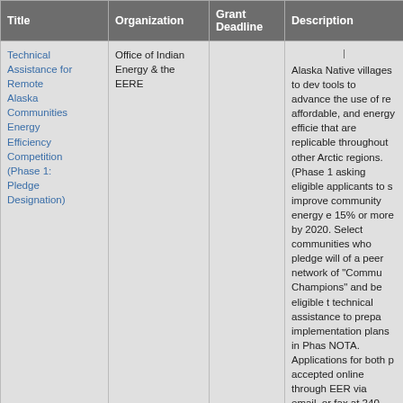| Title | Organization | Grant Deadline | Description |
| --- | --- | --- | --- |
| Technical Assistance for Remote Alaska Communities Energy Efficiency Competition (Phase 1: Pledge Designation) | Office of Indian Energy & the EERE |  | Alaska Native villages to dev tools to advance the use of re affordable, and energy efficie that are replicable throughout other Arctic regions. (Phase 1 asking eligible applicants to s improve community energy e 15% or more by 2020. Select communities who pledge will of a peer network of "Commu Champions" and be eligible t technical assistance to prepa implementation plans in Pha NOTA. Applications for both p accepted online through EER via email, or fax at 240-562-1 |
|  |  |  | RFP closed. The Office of Inc and EERE have issued a No Technical Assistance (NOTA) accelerate efforts by remote A communities to adopt sustain |